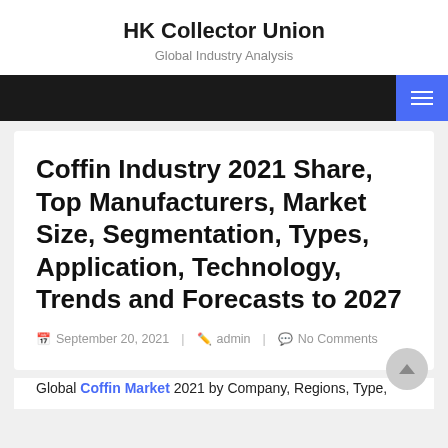HK Collector Union
Global Industry Analysis
Coffin Industry 2021 Share, Top Manufacturers, Market Size, Segmentation, Types, Application, Technology, Trends and Forecasts to 2027
September 20, 2021  admin  No Comments
Global Coffin Market 2021 by Company, Regions, Type,